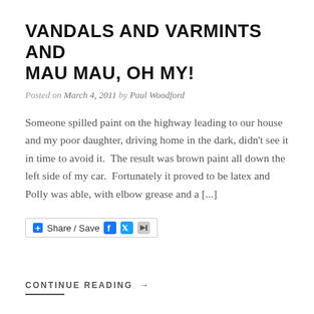VANDALS AND VARMINTS AND MAU MAU, OH MY!
Posted on March 4, 2011 by Paul Woodford
Someone spilled paint on the highway leading to our house and my poor daughter, driving home in the dark, didn't see it in time to avoid it.  The result was brown paint all down the left side of my car.  Fortunately it proved to be latex and Polly was able, with elbow grease and a [...]
[Figure (other): Share / Save social sharing widget with Facebook, Twitter, and forward icons]
CONTINUE READING →